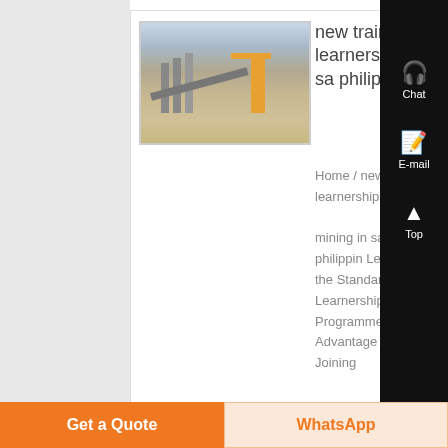[Figure (photo): Mining site with industrial structures, conveyor belts, and yellow crane/excavator machinery against a hazy sky]
new traineeship/ learnerships mining in sa philippines
Home / new traineeship/ learnerships/in mining in sa in philippin Let's Jo the Standard Ba Learnership Programme!, Advantage of Joining
[Figure (other): Right sidebar black panel with Chat (headset icon), E-mail (document icon), Top (arrow up icon), and close (X) buttons]